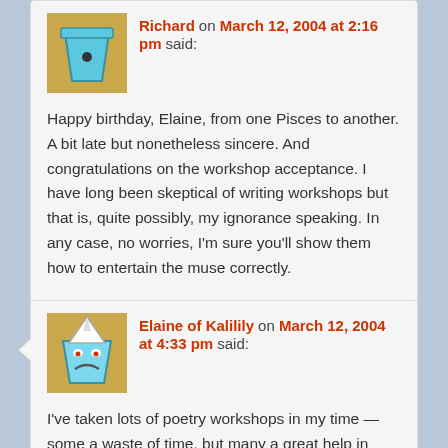[Figure (illustration): Avatar image: cartoon cupcake/bucket icon with blue coloring on tan/gold background, with a dot in center, for user Richard]
Richard on March 12, 2004 at 2:16 pm said:
Happy birthday, Elaine, from one Pisces to another. A bit late but nonetheless sincere. And congratulations on the workshop acceptance. I have long been skeptical of writing workshops but that is, quite possibly, my ignorance speaking. In any case, no worries, I'm sure you'll show them how to entertain the muse correctly.
Reply ↓
[Figure (illustration): Avatar image: cartoon cupcake/bucket with frowning face, blue and white coloring on tan/gold background, for user Elaine of Kalilily]
Elaine of Kalilily on March 12, 2004 at 4:33 pm said:
I've taken lots of poetry workshops in my time — some a waste of time, but many a great help in